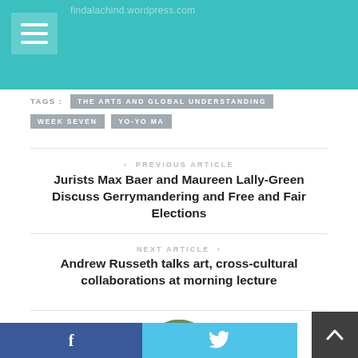findalachind.wordpress.com
TAGS : THE ARTS AND GLOBAL UNDERSTANDING   WEEK SEVEN   YO-YO MA
< PREVIOUS ARTICLE
Jurists Max Baer and Maureen Lally-Green Discuss Gerrymandering and Free and Fair Elections
NEXT ARTICLE >
Andrew Russeth talks art, cross-cultural collaborations at morning lecture
[Figure (photo): Circular profile photo of a young man with a beard wearing a light blue shirt, photographed outdoors with green foliage background]
f   (Twitter bird icon)